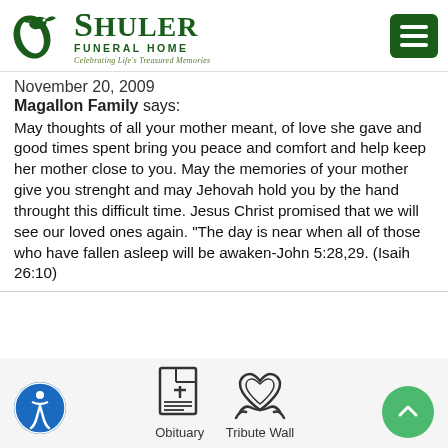[Figure (logo): Shuler Funeral Home logo with leaf/dove icon and text 'Shuler Funeral Home - Celebrating Life's Treasured Memories']
November 20, 2009
Magallon Family says:
May thoughts of all your mother meant, of love she gave and good times spent bring you peace and comfort and help keep her mother close to you. May the memories of your mother give you strenght and may Jehovah hold you by the hand throught this difficult time. Jesus Christ promised that we will see our loved ones again. "The day is near when all of those who have fallen asleep will be awaken-John 5:28,29. (Isaih 26:10)
Obituary  Tribute Wall